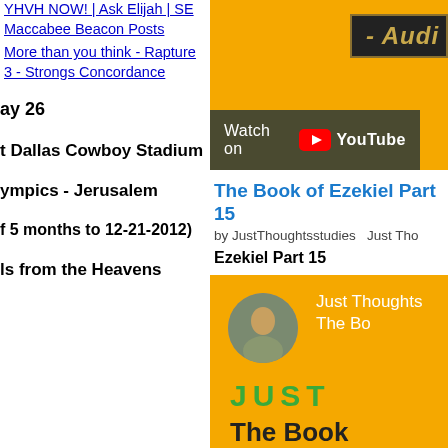YHVH NOW! | Ask Elijah | SE Maccabee Beacon Posts
More than you think - Rapture 3 - Strongs Concordance
May 26
at Dallas Cowboy Stadium
lympics - Jerusalem
f 5 months to 12-21-2012)
ls from the Heavens
[Figure (screenshot): YouTube video thumbnail with golden/yellow background showing '- Audi' text label and 'Watch on YouTube' button]
The Book of Ezekiel Part 15
by JustThoughtsstudies  Just Tho
Ezekiel Part 15
[Figure (screenshot): YouTube video thumbnail with golden yellow background, circular profile image of Jesus, text 'Just Thoughts The Bo', 'JUST' in green letters, 'The Book' in dark letters]